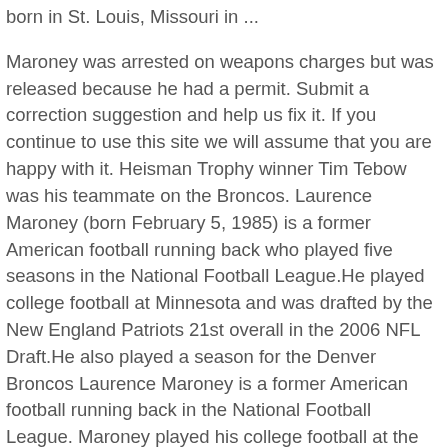born in St. Louis, Missouri in ...
Maroney was arrested on weapons charges but was released because he had a permit. Submit a correction suggestion and help us fix it. If you continue to use this site we will assume that you are happy with it. Heisman Trophy winner Tim Tebow was his teammate on the Broncos. Laurence Maroney (born February 5, 1985) is a former American football running back who played five seasons in the National Football League.He played college football at Minnesota and was drafted by the New England Patriots 21st overall in the 2006 NFL Draft.He also played a season for the Denver Broncos Laurence Maroney is a former American football running back in the National Football League. Maroney played his college football at the University of Minnesota where he was named Big Ten Freshman of the Year and honorable mention All-Big Ten in 2003. He was a running back who played at Wellston Normandy High School.
How much money is Laurence Maroney worth at the age of 35 and